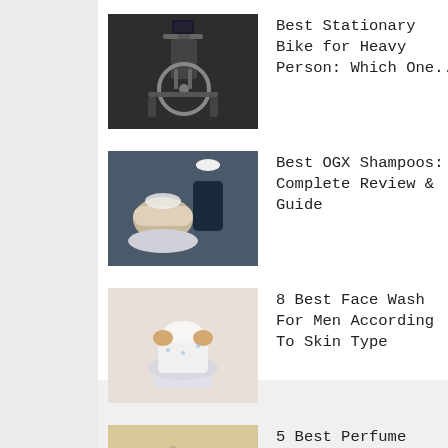[Figure (photo): Stationary exercise bike in dark setting]
Best Stationary Bike for Heavy Person: Which One...
[Figure (photo): Person getting hair washed at a salon sink]
Best OGX Shampoos: Complete Review & Guide
[Figure (photo): Man washing face at a sink with foam]
8 Best Face Wash For Men According To Skin Type
[Figure (photo): Perfume and cosmetic items on a table with botanical elements]
5 Best Perfume Similar To Chanel Chance